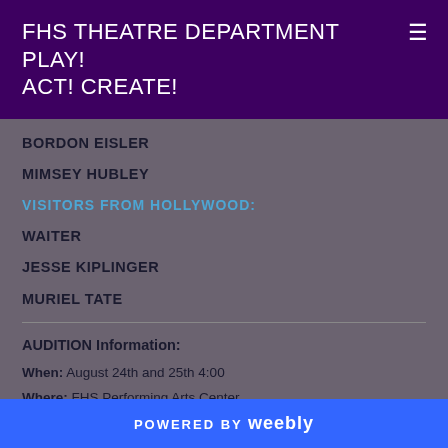FHS THEATRE DEPARTMENT PLAY! ACT! CREATE!
BORDON EISLER
MIMSEY HUBLEY
VISITORS FROM HOLLYWOOD:
WAITER
JESSE KIPLINGER
MURIEL TATE
AUDITION Information:
When: August 24th and 25th 4:00
Where: FHS Performing Arts Center
How:
POWERED BY weebly